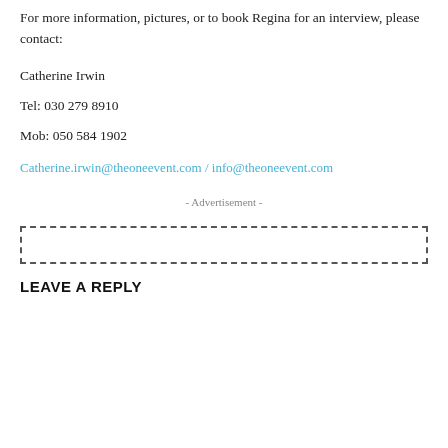For more information, pictures, or to book Regina for an interview, please contact:
Catherine Irwin
Tel: 030 279 8910
Mob: 050 584 1902
Catherine.irwin@theoneevent.com / info@theoneevent.com
- Advertisement -
LEAVE A REPLY